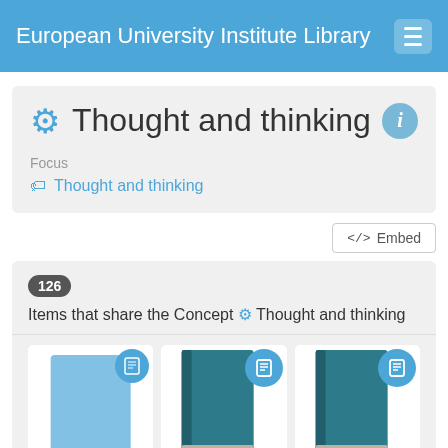European University Institute Library
Thought and thinking
Focus
Thought and thinking
</> Embed
126 Items that share the Concept ⚙ Thought and thinking
[Figure (screenshot): Three book cover thumbnails in a row, each with a blue circular book-type badge icon in the top-right corner. The middle and right books show teal/dark-teal colored book covers.]